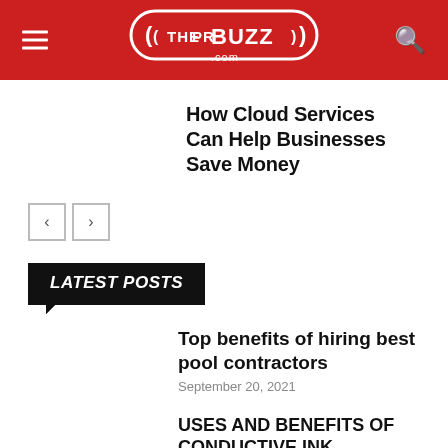ThePRBuzz.com
How Cloud Services Can Help Businesses Save Money
[Figure (other): Previous and next navigation arrow buttons]
LATEST POSTS
Top benefits of hiring best pool contractors
September 20, 2021
USES AND BENEFITS OF CONDUCTIVE INK TECHNOLOGY
June 1, 2020